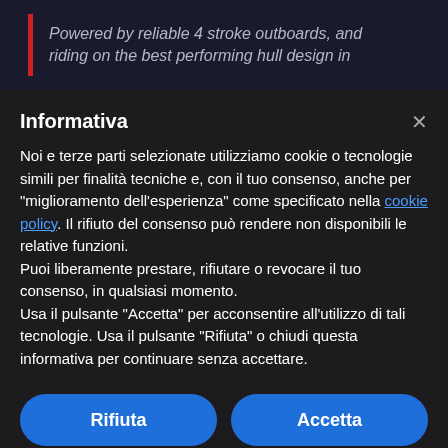[Figure (screenshot): Dark background with red vertical bar accent and italic text: 'Powered by reliable 4 stroke outboards, and riding on the best performing hull design in']
Informativa
Noi e terze parti selezionate utilizziamo cookie o tecnologie simili per finalità tecniche e, con il tuo consenso, anche per "miglioramento dell'esperienza" come specificato nella cookie policy. Il rifiuto del consenso può rendere non disponibili le relative funzioni.
Puoi liberamente prestare, rifiutare o revocare il tuo consenso, in qualsiasi momento.
Usa il pulsante "Accetta" per acconsentire all'utilizzo di tali tecnologie. Usa il pulsante "Rifiuta" o chiudi questa informativa per continuare senza accettare.
Rifiuta
Accetta
Scopri di più e personalizza